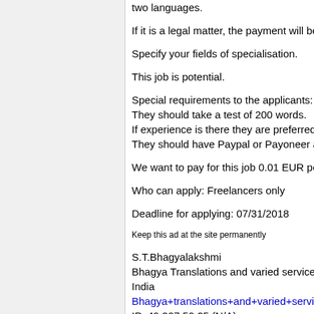two languages.
If it is a legal matter, the payment will be mor
Specify your fields of specialisation.
This job is potential.
Special requirements to the applicants: Fresh
They should take a test of 200 words.
If experience is there they are preferred.
They should have Paypal or Payoneer accou
We want to pay for this job 0.01 EUR per wo
Who can apply: Freelancers only
Deadline for applying: 07/31/2018
Keep this ad at the site permanently
S.T.Bhagyalakshmi
Bhagya Translations and varied services
India
Bhagya+translations+and+varied+services
IP: 49.207.59.25 (N/A)
* * * * * * * * * * * * * * * * * *
Posted on Sunday, 24 Jun 2018, 10:46:39
Number of applications